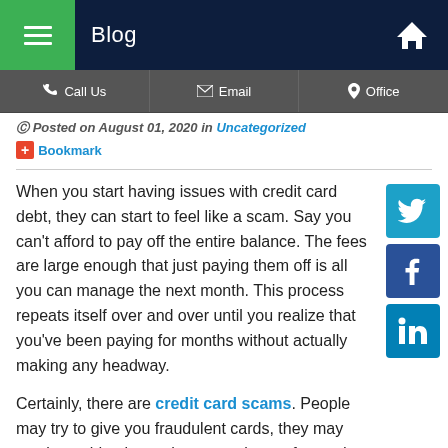Blog
Call Us  Email  Office
Posted on August 01, 2020 in Uncategorized
Bookmark
When you start having issues with credit card debt, they can start to feel like a scam. Say you can't afford to pay off the entire balance. The fees are large enough that just paying them off is all you can manage the next month. This process repeats itself over and over until you realize that you've been paying for months without actually making any headway.
Certainly, there are credit card scams. People may try to give you fraudulent cards, they may steal your identity, or they may sign up for cards